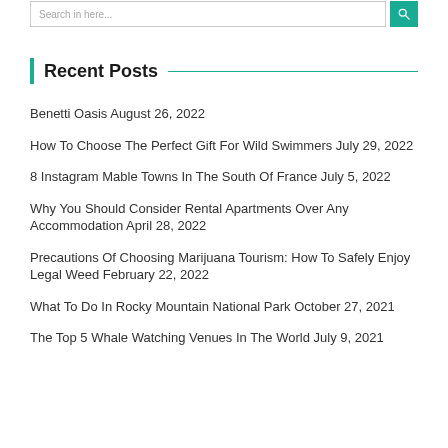[Figure (screenshot): Search input field with teal search button]
Recent Posts
Benetti Oasis August 26, 2022
How To Choose The Perfect Gift For Wild Swimmers July 29, 2022
8 Instagram Mable Towns In The South Of France July 5, 2022
Why You Should Consider Rental Apartments Over Any Accommodation April 28, 2022
Precautions Of Choosing Marijuana Tourism: How To Safely Enjoy Legal Weed February 22, 2022
What To Do In Rocky Mountain National Park October 27, 2021
The Top 5 Whale Watching Venues In The World July 9, 2021